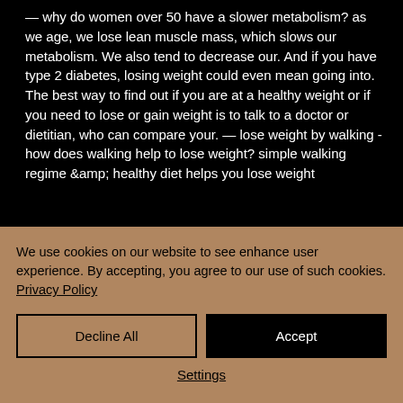— why do women over 50 have a slower metabolism? as we age, we lose lean muscle mass, which slows our metabolism. We also tend to decrease our. And if you have type 2 diabetes, losing weight could even mean going into. The best way to find out if you are at a healthy weight or if you need to lose or gain weight is to talk to a doctor or dietitian, who can compare your. — lose weight by walking - how does walking help to lose weight? simple walking regime &amp; healthy diet helps you lose weight
We use cookies on our website to see enhance user experience. By accepting, you agree to our use of such cookies. Privacy Policy
Decline All
Accept
Settings